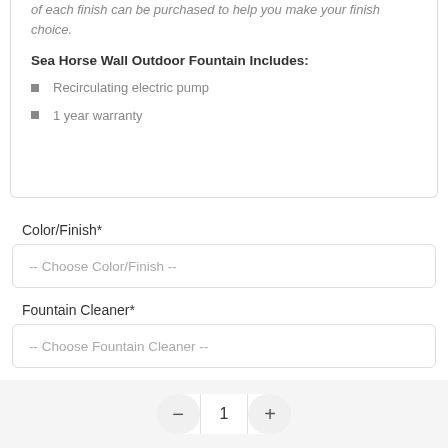of each finish can be purchased to help you make your finish choice.
Sea Horse Wall Outdoor Fountain Includes:
Recirculating electric pump
1 year warranty
Color/Finish*
-- Choose Color/Finish --
Fountain Cleaner*
-- Choose Fountain Cleaner --
1